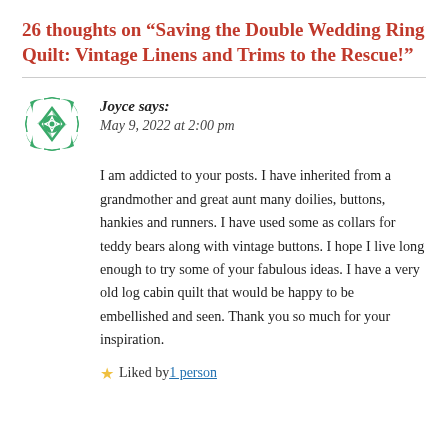26 thoughts on “Saving the Double Wedding Ring Quilt: Vintage Linens and Trims to the Rescue!”
[Figure (logo): Green decorative avatar icon with geometric floral/quilt pattern]
Joyce says:
May 9, 2022 at 2:00 pm
I am addicted to your posts. I have inherited from a grandmother and great aunt many doilies, buttons, hankies and runners. I have used some as collars for teddy bears along with vintage buttons. I hope I live long enough to try some of your fabulous ideas. I have a very old log cabin quilt that would be happy to be embellished and seen. Thank you so much for your inspiration.
★ Liked by 1 person